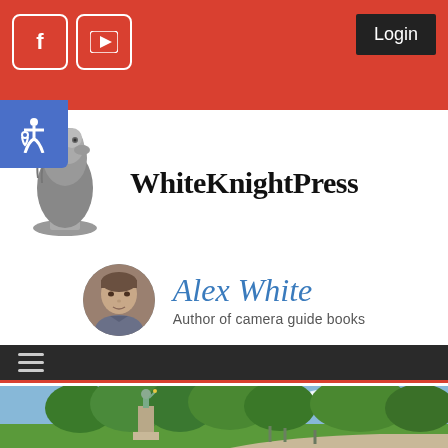[Figure (screenshot): Website header for WhiteKnightPress with red top bar, Facebook and YouTube social icons, Login button, accessibility icon, site logo and title, Alex White author profile with photo, navigation bar, and hero image of a park with a Statue of Liberty replica]
WhiteKnightPress
Alex White
Author of camera guide books